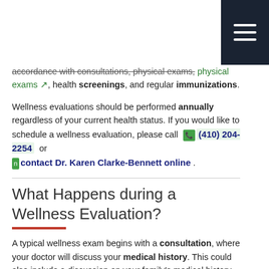accordance with consultations, physical exams, health screenings, and regular immunizations.
Wellness evaluations should be performed annually regardless of your current health status. If you would like to schedule a wellness evaluation, please call (410) 204-2254 or contact Dr. Karen Clarke-Bennett online.
What Happens during a Wellness Evaluation?
A typical wellness exam begins with a consultation, where your doctor will discuss your medical history. This could also include a discussion on your family's medical history in order to diagnose potential genetic illnesses. The consultation is a good time for you to ask any questions or concerns you may have about your health.